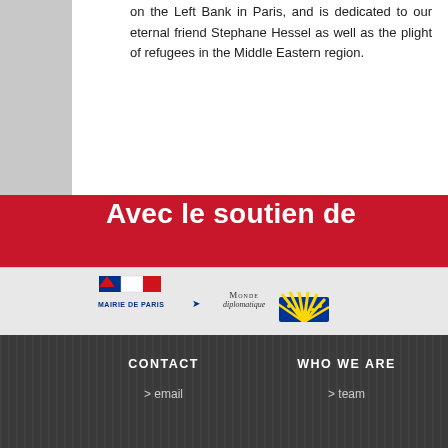on the Left Bank in Paris, and is dedicated to our eternal friend Stephane Hessel as well as the plight of refugees in the Middle Eastern region.
Avec le soutien de
[Figure (logo): Mairie de Paris logo with French flag colors and MAIRIE DE PARIS text]
[Figure (logo): Monde diplomatique logo]
[Figure (logo): Yellow and blue fan/sunburst logo]
CONTACT  > email    WHO WE ARE  > team